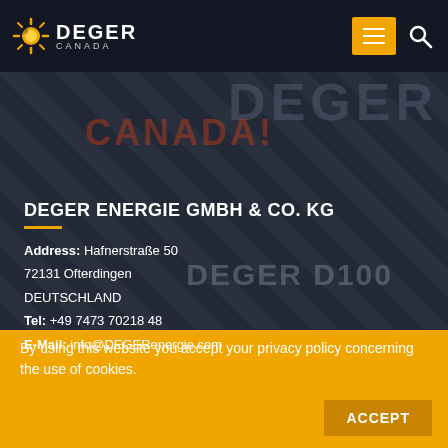[Figure (screenshot): DEGER Canada logo in top-left header with sun icon, hamburger menu button in orange/yellow, and search icon]
DEGER ENERGIE GMBH & CO. KG
Address: Hafnerstraße 50
72131 Ofterdingen
DEUTSCHLAND
Tel: +49 7473 7021848
E-Mail: info@DEGERenergie.com
By using this website you accept your privacy policy concerning the use of cookies.